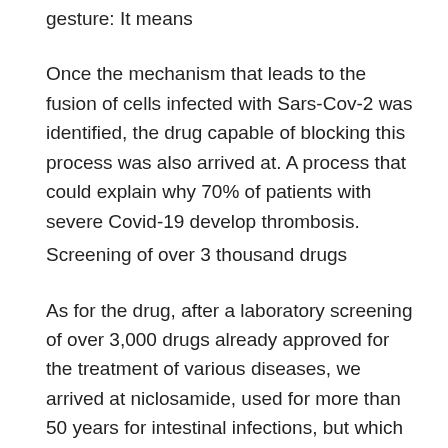gesture: It means
Once the mechanism that leads to the fusion of cells infected with Sars-Cov-2 was identified, the drug capable of blocking this process was also arrived at. A process that could explain why 70% of patients with severe Covid-19 develop thrombosis.
Screening of over 3 thousand drugs
As for the drug, after a laboratory screening of over 3,000 drugs already approved for the treatment of various diseases, we arrived at niclosamide, used for more than 50 years for intestinal infections, but which is also able to block harmful effects that Sars-CoV-2 Spike protein causes to cells.
The discovery is the result of a study by a group of researchers from King's College London, the University of Trieste and the Center for Genetic Engineering and